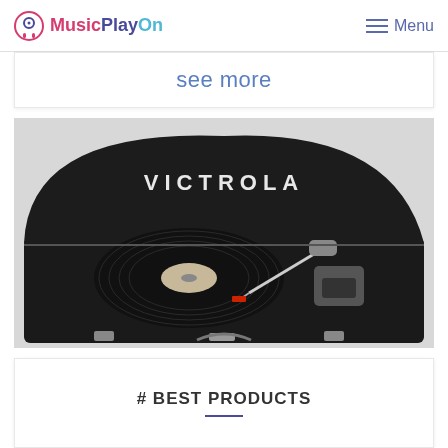MusicPlayOn — Menu
see more
[Figure (photo): Victrola suitcase vinyl record player / turntable with a vinyl record on the platter, open lid showing the VICTROLA logo, black color with chrome clasps]
# BEST PRODUCTS